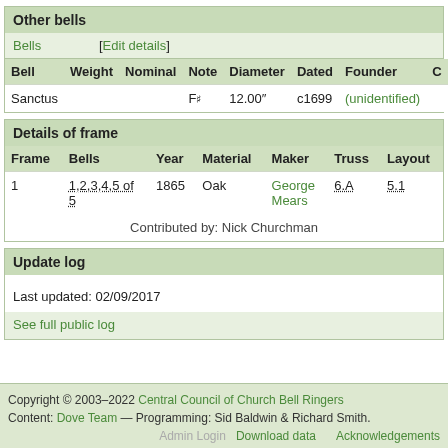Other bells
Bells  [Edit details]
| Bell | Weight | Nominal | Note | Diameter | Dated | Founder | C |
| --- | --- | --- | --- | --- | --- | --- | --- |
| Sanctus |  |  | F# | 12.00" | c1699 | (unidentified) |  |
Details of frame
| Frame | Bells | Year | Material | Maker | Truss | Layout |
| --- | --- | --- | --- | --- | --- | --- |
| 1 | 1,2,3,4,5 of 5 | 1865 | Oak | George Mears | 6.A | 5.1 |
| Contributed by: Nick Churchman |  |  |  |  |  |  |
Update log
Last updated: 02/09/2017
See full public log
Copyright © 2003–2022 Central Council of Church Bell Ringers Content: Dove Team — Programming: Sid Baldwin & Richard Smith. Download data Acknowledgements Admin Login